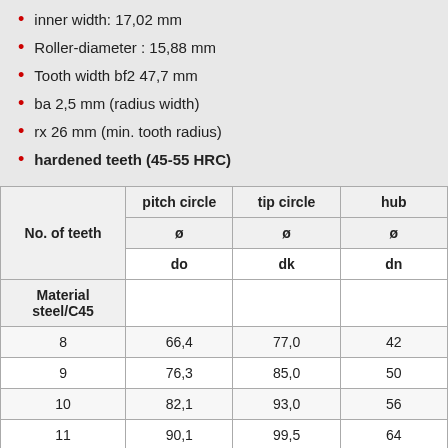inner width: 17,02 mm
Roller-diameter : 15,88 mm
Tooth width bf2 47,7 mm
ba 2,5 mm (radius width)
rx 26 mm (min. tooth radius)
hardened teeth (45-55 HRC)
| No. of teeth | pitch circle
ø
do | tip circle
ø
dk | hub
ø
dn |
| --- | --- | --- | --- |
| 8 | 66,4 | 77,0 | 42 |
| 9 | 76,3 | 85,0 | 50 |
| 10 | 82,1 | 93,0 | 56 |
| 11 | 90,1 | 99,5 | 64 |
| 12 | 98,1 | 109,0 | 72 |
| 13 | 106,1 | 117,0 | 80 |